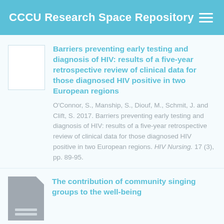CCCU Research Space Repository
Barriers preventing early testing and diagnosis of HIV: results of a five-year retrospective review of clinical data for those diagnosed HIV positive in two European regions
O'Connor, S., Manship, S., Diouf, M., Schmit, J. and Clift, S. 2017. Barriers preventing early testing and diagnosis of HIV: results of a five-year retrospective review of clinical data for those diagnosed HIV positive in two European regions. HIV Nursing. 17 (3), pp. 89-95.
The contribution of community singing groups to the well-being